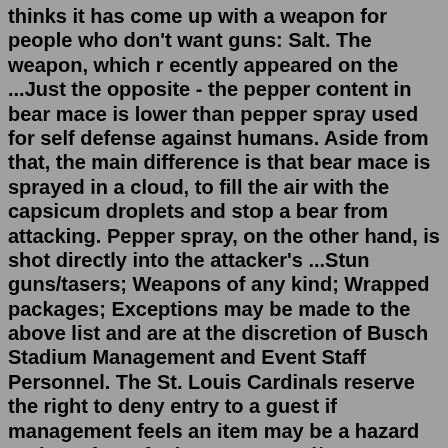thinks it has come up with a weapon for people who don't want guns: Salt. The weapon, which r ecently appeared on the ...Just the opposite - the pepper content in bear mace is lower than pepper spray used for self defense against humans. Aside from that, the main difference is that bear mace is sprayed in a cloud, to fill the air with the capsicum droplets and stop a bear from attacking. Pepper spray, on the other hand, is shot directly into the attacker's ...Stun guns/tasers; Weapons of any kind; Wrapped packages; Exceptions may be made to the above list and are at the discretion of Busch Stadium Management and Event Staff Personnel. The St. Louis Cardinals reserve the right to deny entry to a guest if management feels an item may be a hazard to the safety of other guests and/or employees.~nability of pepper spray products that use iwpropyl alcohol as a carrier. In one reported incident. police sprayed an arnied. extremely agitated dolesc scent with OC and then .;hot him with an electrical \tun gun: the charge from the stun gun apparently ignited the OC carrier